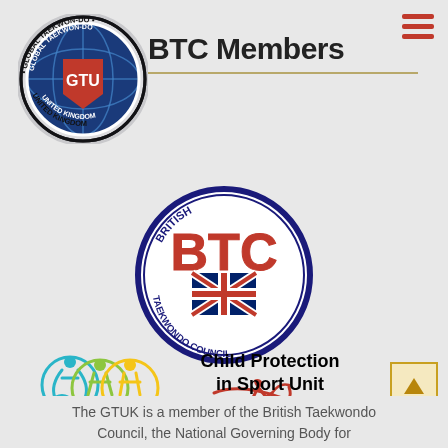BTC Members
[Figure (logo): Global Taekwon-Do United Kingdom (GTU) circular logo with globe, red and blue design]
[Figure (logo): British Taekwondo Council (BTC) circular logo with Union Jack and text]
[Figure (logo): UK Sport logo with red figure and text]
[Figure (logo): Child Protection in Sport Unit logo with three circular athlete figures in teal, green and yellow]
Child Protection in Sport Unit
The GTUK is a member of the British Taekwondo Council, the National Governing Body for